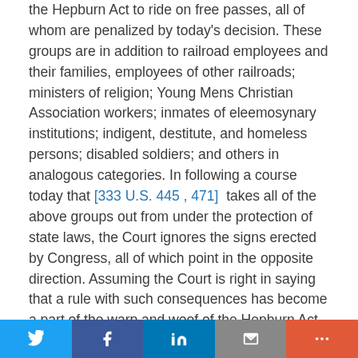the Hepburn Act to ride on free passes, all of whom are penalized by today's decision. These groups are in addition to railroad employees and their families, employees of other railroads; ministers of religion; Young Mens Christian Association workers; inmates of eleemosynary institutions; indigent, destitute, and homeless persons; disabled soldiers; and others in analogous categories. In following a course today that [333 U.S. 445 , 471]  takes all of the above groups out from under the protection of state laws, the Court ignores the signs erected by Congress, all of which point in the opposite direction. Assuming the Court is right in saying that a rule with such consequences has become a part of the warp and woof of the Hepburn Act, it is a defective part which this Court alone has woven into the Act and which clashes with the congressionally fashioned fabric and design. The result is a motley pattern. I would restore the original congressional design.
Twitter | Facebook | LinkedIn | Email | More